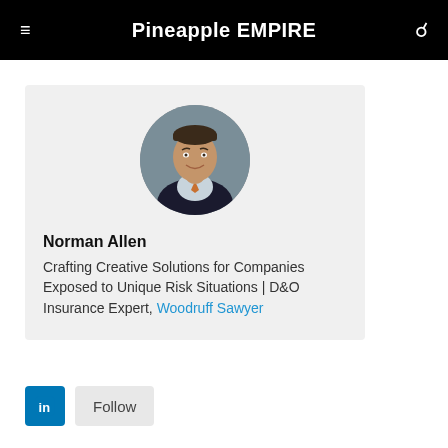Pineapple EMPIRE
[Figure (photo): Profile photo of Norman Allen, a man in a dark suit with an orange tie, circular crop, gray background]
Norman Allen
Crafting Creative Solutions for Companies Exposed to Unique Risk Situations | D&O Insurance Expert, Woodruff Sawyer
[Figure (logo): LinkedIn logo button (blue square with white 'in') and a Follow button]